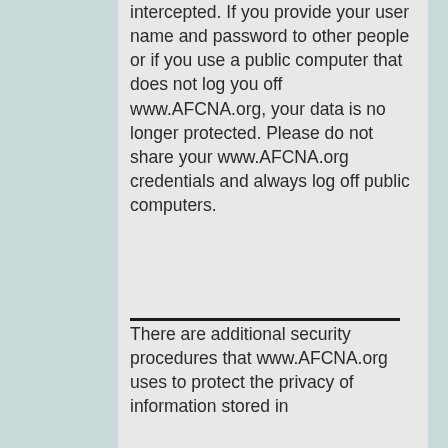intercepted. If you provide your user name and password to other people or if you use a public computer that does not log you off www.AFCNA.org, your data is no longer protected. Please do not share your www.AFCNA.org credentials and always log off public computers.
There are additional security procedures that www.AFCNA.org uses to protect the privacy of information stored in...